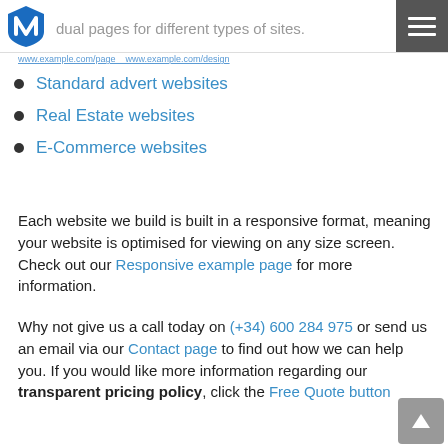dual pages for different types of sites.
Standard advert websites
Real Estate websites
E-Commerce websites
Each website we build is built in a responsive format, meaning your website is optimised for viewing on any size screen. Check out our Responsive example page for more information.
Why not give us a call today on (+34) 600 284 975 or send us an email via our Contact page to find out how we can help you. If you would like more information regarding our transparent pricing policy, click the Free Quote button